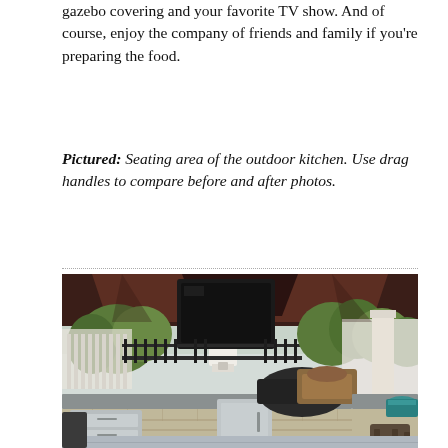gazebo covering and your favorite TV show. And of course, enjoy the company of friends and family if you're preparing the food.
Pictured: Seating area of the outdoor kitchen. Use drag handles to compare before and after photos.
[Figure (photo): Outdoor kitchen seating area under a gazebo structure, showing a black mounted TV, a built-in grill, stone/brick countertops and cabinetry with stainless steel appliances, surrounded by greenery and a black iron fence.]